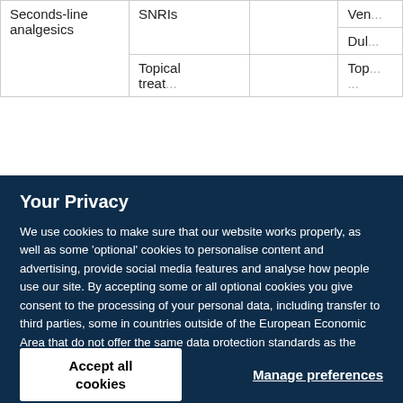| Seconds-line analgesics | SNRIs |  | Ven...
Dulc... |
|  | Topical treatments |  | Top... |
Your Privacy
We use cookies to make sure that our website works properly, as well as some 'optional' cookies to personalise content and advertising, provide social media features and analyse how people use our site. By accepting some or all optional cookies you give consent to the processing of your personal data, including transfer to third parties, some in countries outside of the European Economic Area that do not offer the same data protection standards as the country where you live. You can decide which optional cookies to accept by clicking on 'Manage Settings', where you can also find more information about how your personal data is processed. Further information can be found in our privacy policy.
Accept all cookies
Manage preferences